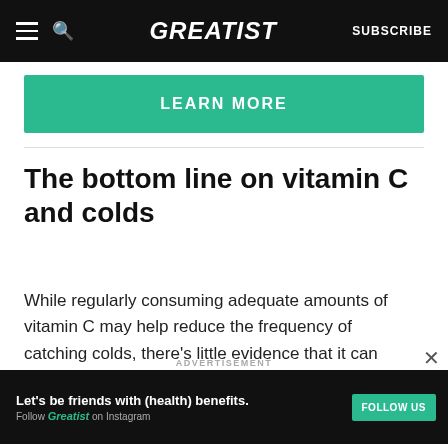GREATIST | SUBSCRIBE
[Figure (other): Green LEARN MORE button banner]
The bottom line on vitamin C and colds
While regularly consuming adequate amounts of vitamin C may help reduce the frequency of catching colds, there’s little evidence that it can actually help prevent sickness once it’s already set
[Figure (other): Advertisement banner: Let’s be friends with (health) benefits. Follow GREATIST on Instagram. FOLLOW US button.]